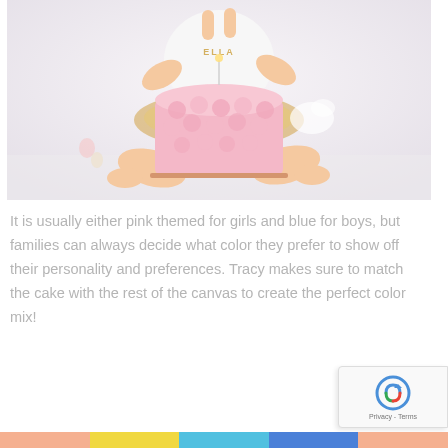[Figure (photo): A baby sitting on a white floor next to a pink rosette frosted birthday cake. The baby is wearing a white shirt with 'ELLA' text, a gold/floral tutu skirt. Frosting is visible on the baby's side. The background is white/light grey.]
It is usually either pink themed for girls and blue for boys, but families can always decide what color they prefer to show off their personality and preferences. Tracy makes sure to match the cake with the rest of the canvas to create the perfect color mix!
[Figure (photo): Bottom strip showing colorful birthday themed photos — partially visible at the bottom of the page in pink, yellow, blue, and green tones.]